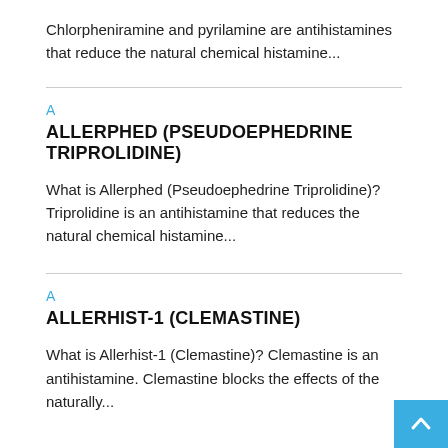Chlorpheniramine and pyrilamine are antihistamines that reduce the natural chemical histamine...
A
ALLERPHED (PSEUDOEPHEDRINE TRIPROLIDINE)
What is Allerphed (Pseudoephedrine Triprolidine)? Triprolidine is an antihistamine that reduces the natural chemical histamine...
A
ALLERHIST-1 (CLEMASTINE)
What is Allerhist-1 (Clemastine)? Clemastine is an antihistamine. Clemastine blocks the effects of the naturally...